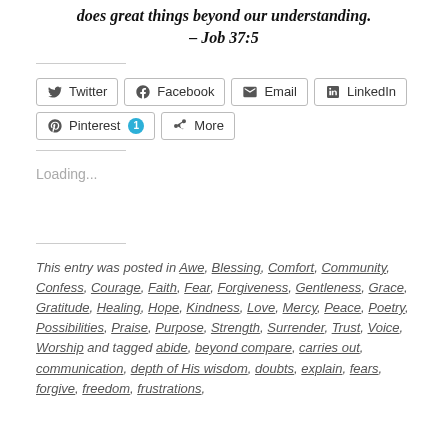does great things beyond our understanding. – Job 37:5
[Figure (other): Social sharing buttons: Twitter, Facebook, Email, LinkedIn, Pinterest (with count badge 1), More]
Loading...
This entry was posted in Awe, Blessing, Comfort, Community, Confess, Courage, Faith, Fear, Forgiveness, Gentleness, Grace, Gratitude, Healing, Hope, Kindness, Love, Mercy, Peace, Poetry, Possibilities, Praise, Purpose, Strength, Surrender, Trust, Voice, Worship and tagged abide, beyond compare, carries out, communication, depth of His wisdom, doubts, explain, fears, forgive, freedom, frustrations,